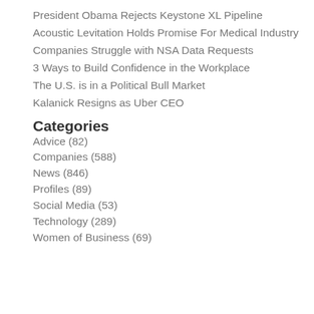President Obama Rejects Keystone XL Pipeline
Acoustic Levitation Holds Promise For Medical Industry
Companies Struggle with NSA Data Requests
3 Ways to Build Confidence in the Workplace
The U.S. is in a Political Bull Market
Kalanick Resigns as Uber CEO
Categories
Advice (82)
Companies (588)
News (846)
Profiles (89)
Social Media (53)
Technology (289)
Women of Business (69)